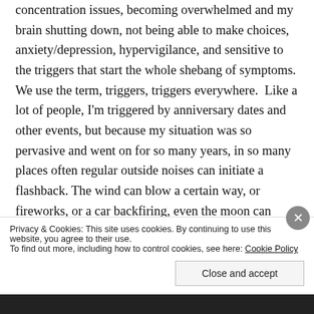concentration issues, becoming overwhelmed and my brain shutting down, not being able to make choices, anxiety/depression, hypervigilance, and sensitive to the triggers that start the whole shebang of symptoms. We use the term, triggers, triggers everywhere.  Like a lot of people, I'm triggered by anniversary dates and other events, but because my situation was so pervasive and went on for so many years, in so many places often regular outside noises can initiate a flashback. The wind can blow a certain way, or fireworks, or a car backfiring, even the moon can bring on flashbacks.
Privacy & Cookies: This site uses cookies. By continuing to use this website, you agree to their use. To find out more, including how to control cookies, see here: Cookie Policy